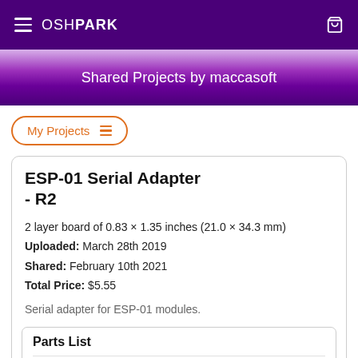OSHPARK
Shared Projects by maccasoft
My Projects
ESP-01 Serial Adapter - R2
2 layer board of 0.83 x 1.35 inches (21.0 x 34.3 mm)
Uploaded: March 28th 2019
Shared: February 10th 2021
Total Price: $5.55
Serial adapter for ESP-01 modules.
Parts List
R1, R2   10,000 ohm ¼ watt